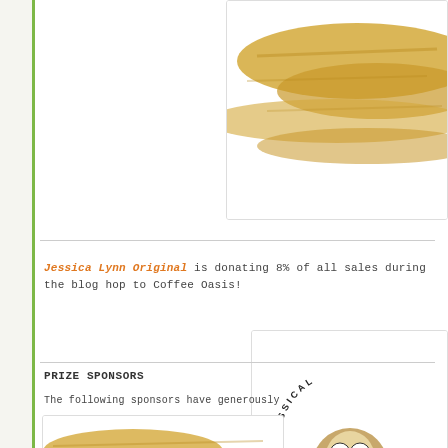[Figure (illustration): Partial view of a golden/tan brushstroke or banner image cropped at top right of page]
Jessica Lynn Original is donating 8% of all sales during the blog hop to Coffee Oasis!
[Figure (logo): Jessica Lynn Originals circular logo with cartoon owl character wearing blue striped shirt, text reading www.jessicalynn... around the circle]
PRIZE SPONSORS
The following sponsors have generously
[Figure (illustration): Partial view of golden/tan brushstroke banner at bottom of page, cropped]